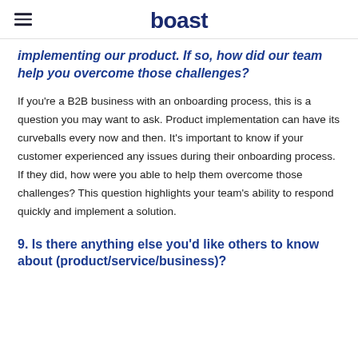boast
implementing our product. If so, how did our team help you overcome those challenges?
If you're a B2B business with an onboarding process, this is a question you may want to ask. Product implementation can have its curveballs every now and then. It's important to know if your customer experienced any issues during their onboarding process. If they did, how were you able to help them overcome those challenges? This question highlights your team's ability to respond quickly and implement a solution.
9. Is there anything else you'd like others to know about (product/service/business)?